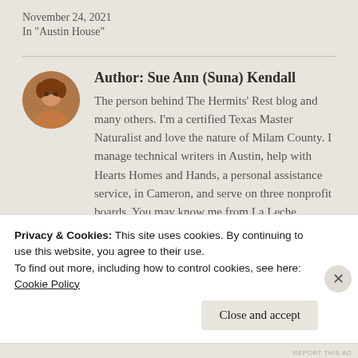November 24, 2021
In "Austin House"
Author: Sue Ann (Suna) Kendall
The person behind The Hermits' Rest blog and many others. I'm a certified Texas Master Naturalist and love the nature of Milam County. I manage technical writers in Austin, help with Hearts Homes and Hands, a personal assistance service, in Cameron, and serve on three nonprofit boards. You may know me from La Leche League, hitting 'Naturalist' on Facebook
Privacy & Cookies: This site uses cookies. By continuing to use this website, you agree to their use.
To find out more, including how to control cookies, see here:
Cookie Policy
Close and accept